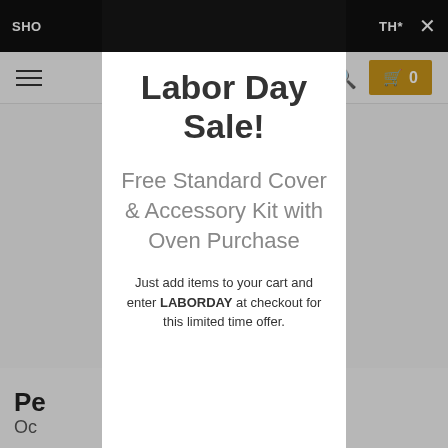SHO... TH* X
Labor Day Sale!
Free Standard Cover & Accessory Kit with Oven Purchase
Just add items to your cart and enter LABORDAY at checkout for this limited time offer.